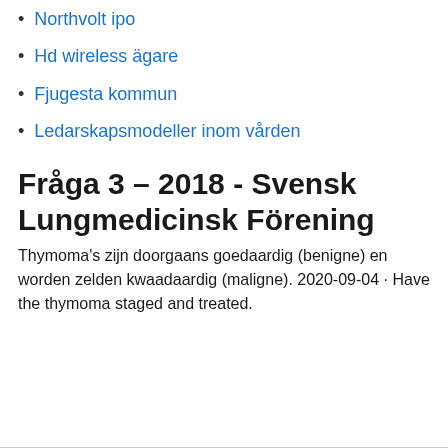Northvolt ipo
Hd wireless ägare
Fjugesta kommun
Ledarskapsmodeller inom vården
Fråga 3 – 2018 - Svensk Lungmedicinsk Förening
Thymoma's zijn doorgaans goedaardig (benigne) en worden zelden kwaadaardig (maligne). 2020-09-04 · Have the thymoma staged and treated.